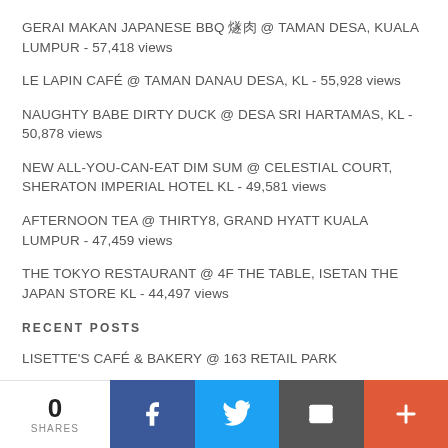GERAI MAKAN JAPANESE BBQ 焼肉 @ TAMAN DESA, KUALA LUMPUR - 57,418 views
LE LAPIN CAFÉ @ TAMAN DANAU DESA, KL - 55,928 views
NAUGHTY BABE DIRTY DUCK @ DESA SRI HARTAMAS, KL - 50,878 views
NEW ALL-YOU-CAN-EAT DIM SUM @ CELESTIAL COURT, SHERATON IMPERIAL HOTEL KL - 49,581 views
AFTERNOON TEA @ THIRTY8, GRAND HYATT KUALA LUMPUR - 47,459 views
THE TOKYO RESTAURANT @ 4F THE TABLE, ISETAN THE JAPAN STORE KL - 44,497 views
RECENT POSTS
LISETTE'S CAFÉ & BAKERY @ 163 RETAIL PARK
BANGKOK: THE NEVER ENDING SUMMER
FABULOUS SEAFOOD NIGHT @ THYME, PARKROYAL COLLECTION KUALA
0 SHARES | Facebook | Twitter | Email | More